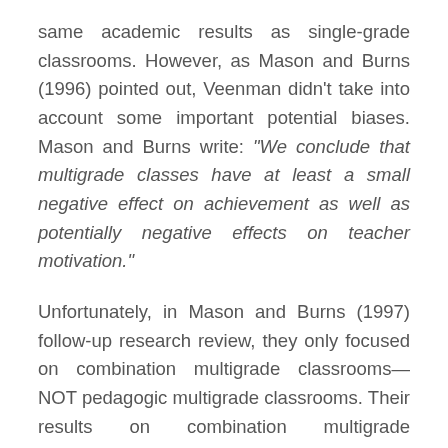same academic results as single-grade classrooms. However, as Mason and Burns (1996) pointed out, Veenman didn't take into account some important potential biases. Mason and Burns write: “We conclude that multigrade classes have at least a small negative effect on achievement as well as potentially negative effects on teacher motivation.”
Unfortunately, in Mason and Burns (1997) follow-up research review, they only focused on combination multigrade classrooms—NOT pedagogic multigrade classrooms. Their results on combination multigrade classrooms